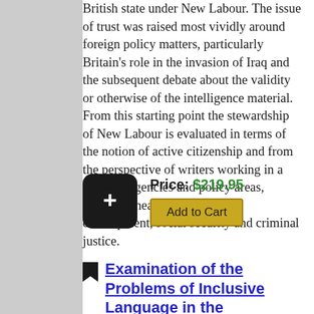British state under New Labour. The issue of trust was raised most vividly around foreign policy matters, particularly Britain's role in the invasion of Iraq and the subsequent debate about the validity or otherwise of the intelligence material. From this starting point the stewardship of New Labour is evaluated in terms of the notion of active citizenship and from the perspective of writers working in a range of agencies and policy areas, including health, community development, social security and criminal justice.
Price: $219.95
Add to Cart
Examination of the Problems of Inclusive Language in the